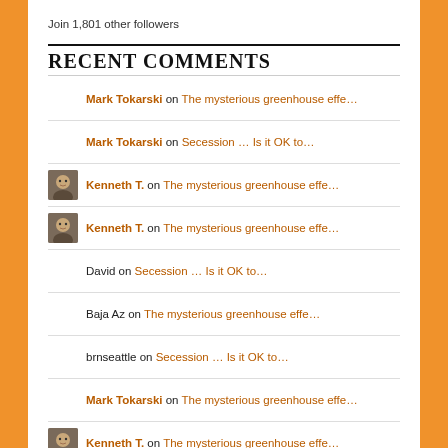Join 1,801 other followers
RECENT COMMENTS
Mark Tokarski on The mysterious greenhouse effe…
Mark Tokarski on Secession … Is it OK to…
Kenneth T. on The mysterious greenhouse effe…
Kenneth T. on The mysterious greenhouse effe…
David on Secession … Is it OK to…
Baja Az on The mysterious greenhouse effe…
brnseattle on Secession … Is it OK to…
Mark Tokarski on The mysterious greenhouse effe…
Kenneth T. on The mysterious greenhouse effe…
Kenneth T. on The mysterious greenhouse effe…